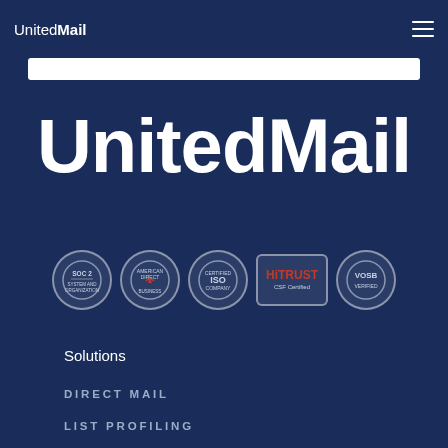UnitedMail
[Figure (logo): UnitedMail large white wordmark logo on dark blue background]
[Figure (infographic): Row of five certification badges: SOC 2, American Business, ISO Certified Company, HITRUST CSF Certified, VOSB]
Solutions
DIRECT MAIL
LIST PROFILING